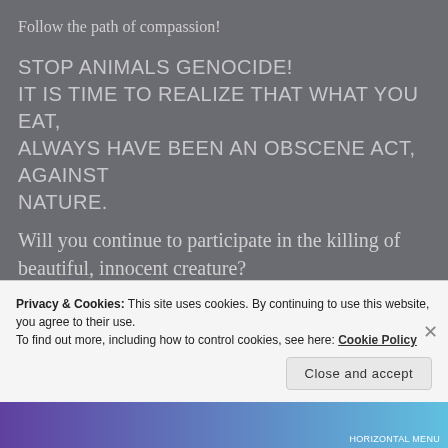Follow the path of compassion!
STOP ANIMALS GENOCIDE!
IT IS TIME TO REALIZE THAT WHAT YOU EAT, ALWAYS HAVE BEEN AN OBSCENE ACT, AGAINST NATURE.
Will you continue to participate in the killing of beautiful, innocent creature?
_I invite you to follow that path; to inform you, to really think about it, face yourself in all honesty and full realism.
Privacy & Cookies: This site uses cookies. By continuing to use this website, you agree to their use.
To find out more, including how to control cookies, see here: Cookie Policy
Close and accept